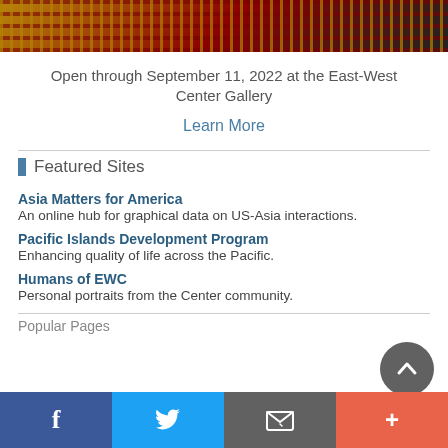[Figure (photo): Top portion of a decorative/artistic image with yellow, red, and dark colors — appears to be a colorful fabric or art piece]
Open through September 11, 2022 at the East-West Center Gallery
Learn More
Featured Sites
Asia Matters for America — An online hub for graphical data on US-Asia interactions.
Pacific Islands Development Program — Enhancing quality of life across the Pacific.
Humans of EWC — Personal portraits from the Center community.
Popular Pages
Facebook | Twitter | Email | More